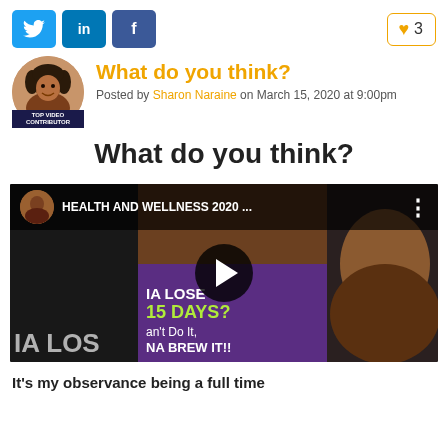[Figure (screenshot): Social media share buttons: Twitter, LinkedIn, Facebook icons, and a like counter showing heart icon with number 3]
[Figure (photo): Author avatar photo of Sharon Naraine with TOP VIDEO CONTRIBUTOR badge]
What do you think?
Posted by Sharon Naraine on March 15, 2020 at 9:00pm
What do you think?
[Figure (screenshot): Embedded YouTube video thumbnail for 'HEALTH AND WELLNESS 2020 ...' showing a woman and a purple banner with text 'IA LOSE 15 DAYS? Can't Do It, NA BREW IT!!' with a play button overlay]
It's my observance being a full time